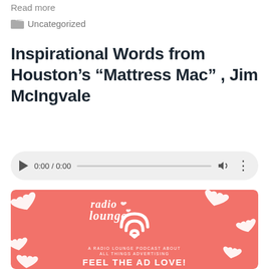Read more
Uncategorized
Inspirational Words from Houston’s “Mattress Mac” , Jim McIngvale
[Figure (other): Audio player widget showing 0:00 / 0:00 with play button, progress bar, volume and options icons]
[Figure (illustration): Radio Lounge podcast promotional image on salmon/coral pink background with white hearts, wifi-style signal icon, text reading 'radio lounge', 'A RADIO LOUNGE PODCAST ABOUT ALL THINGS ADVERTISING', and 'FEEL THE AD LOVE!']